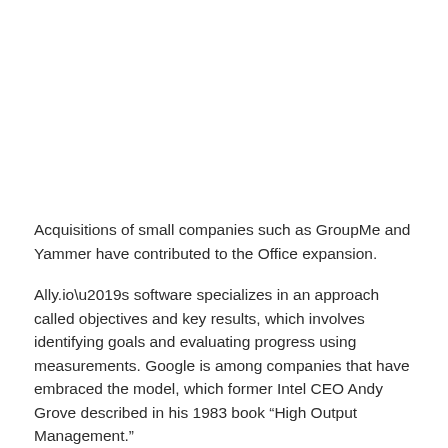Acquisitions of small companies such as GroupMe and Yammer have contributed to the Office expansion.
Ally.io's software specializes in an approach called objectives and key results, which involves identifying goals and evaluating progress using measurements. Google is among companies that have embraced the model, which former Intel CEO Andy Grove described in his 1983 book “High Output Management.”
Dashboards and customizable tools from Ally.io will become part of Microsoft’s Viva software, which the company introduced in February and made accessible through its